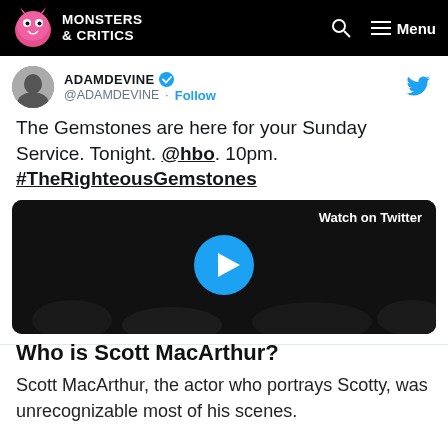MONSTERS & CRITICS — Menu
[Figure (screenshot): Tweet from @ADAMDEVINE with text: The Gemstones are here for your Sunday Service. Tonight. @hbo. 10pm. #TheRighteousGemstones — with an embedded video thumbnail showing Watch on Twitter and a play button]
Who is Scott MacArthur?
Scott MacArthur, the actor who portrays Scotty, was unrecognizable most of his scenes.